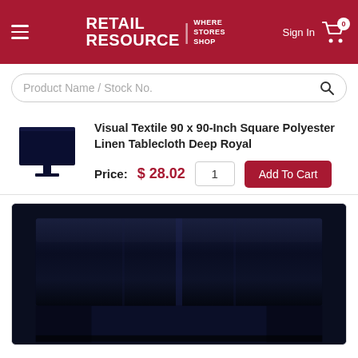[Figure (logo): Retail Resource logo with 'WHERE STORES SHOP' tagline on dark red header]
Sign In
0
Product Name / Stock No.
Visual Textile 90 x 90-Inch Square Polyester Linen Tablecloth Deep Royal
Price:  $ 28.02
[Figure (photo): Product thumbnail: dark navy blue tablecloth icon/silhouette]
[Figure (photo): Product photo: dark navy blue tablecloth draped over a square table, close-up view]